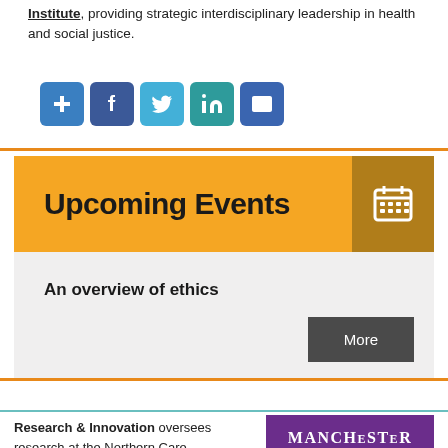Institute, providing strategic interdisciplinary leadership in health and social justice.
[Figure (infographic): Row of five social media sharing icons: plus/share (blue), Facebook (dark blue), Twitter (light blue), LinkedIn (teal), Email/envelope (dark blue)]
Upcoming Events
An overview of ethics
More
Research & Innovation oversees research at the Northern Care
[Figure (logo): Manchester university logo - purple background with white text reading MANCHESTER]